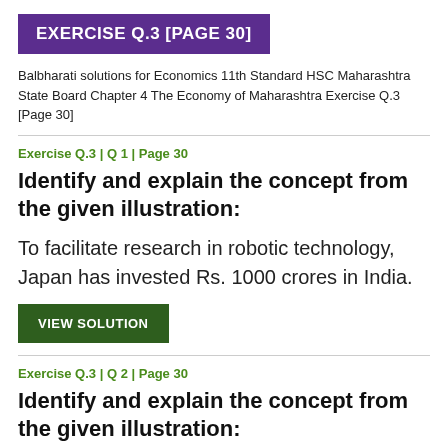EXERCISE Q.3 [PAGE 30]
Balbharati solutions for Economics 11th Standard HSC Maharashtra State Board Chapter 4 The Economy of Maharashtra Exercise Q.3 [Page 30]
Exercise Q.3 | Q 1 | Page 30
Identify and explain the concept from the given illustration:
To facilitate research in robotic technology, Japan has invested Rs. 1000 crores in India.
VIEW SOLUTION
Exercise Q.3 | Q 2 | Page 30
Identify and explain the concept from the given illustration: